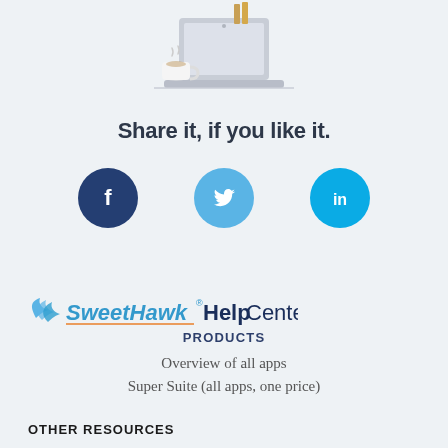[Figure (illustration): Illustration of a laptop and a coffee cup on a light blue background.]
Share it, if you like it.
[Figure (infographic): Three social media icons: Facebook (dark blue circle), Twitter (light blue circle), LinkedIn (cyan blue circle).]
[Figure (logo): SweetHawk HelpCenter logo — winged hawk icon with italic SweetHawk in blue and bold HelpCenter in dark navy.]
PRODUCTS
Overview of all apps
Super Suite (all apps, one price)
OTHER RESOURCES